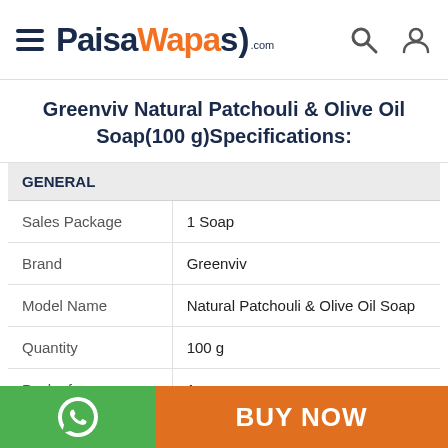PaisaWapas.com
Greenviv Natural Patchouli & Olive Oil Soap(100 g)Specifications:
|  |  |
| --- | --- |
| Sales Package | 1 Soap |
| Brand | Greenviv |
| Model Name | Natural Patchouli & Olive Oil Soap |
| Quantity | 100 g |
| Pack of | 1 |
| Organic | No |
BUY NOW